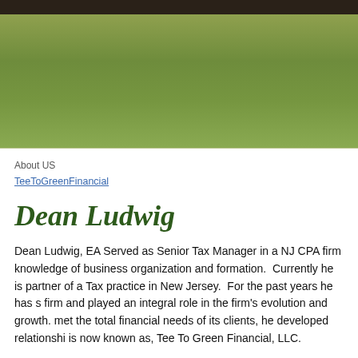[Figure (other): Dark top navigation bar]
[Figure (other): Green gradient banner/header image]
About US
TeeToGreenFinancial
Dean Ludwig
Dean Ludwig, EA Served as Senior Tax Manager in a NJ CPA firm knowledge of business organization and formation.  Currently he is partner of a Tax practice in New Jersey.  For the past years he has s firm and played an integral role in the firm's evolution and growth. met the total financial needs of its clients, he developed relationshi is now known as, Tee To Green Financial, LLC.